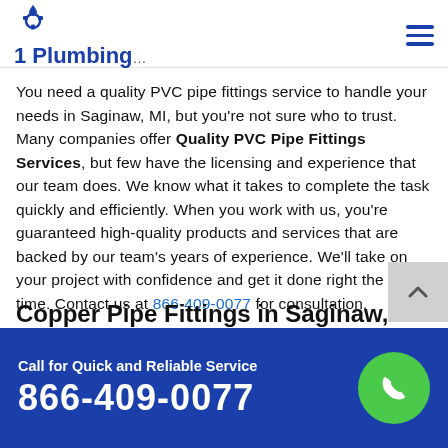1 Plumbing
You need a quality PVC pipe fittings service to handle your needs in Saginaw, MI, but you're not sure who to trust. Many companies offer Quality PVC Pipe Fittings Services, but few have the licensing and experience that our team does. We know what it takes to complete the task quickly and efficiently. When you work with us, you're guaranteed high-quality products and services that are backed by our team's years of experience. We'll take on your project with confidence and get it done right the first time. Contact us at 866-409-0077 for consultation.
Copper Pipe Fittings in Saginaw, MI
Call for Quick and Reliable Service 866-409-0077